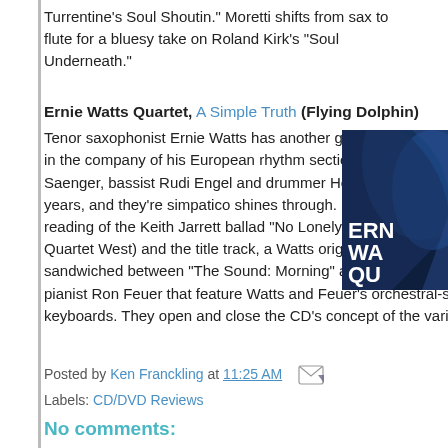Turrentine’s Soul Shoutin.” Moretti shifts from sax to flute for a bluesy take on Roland Kirk’s “Soul Underneath.”
Ernie Watts Quartet, A Simple Truth (Flying Dolphin)
Tenor saxophonist Ernie Watts has another gem on his hands. A Simple Truth finds him in the company of his European rhythm section. He’s worked with pianist Christof Saenger, bassist Rudi Engel and drummer Heinrich Koebberling for more than 15 years, and they’re simpatico shines through. My clear favorites here are his bittersweet reading of the Keith Jarrett ballad “No Lonely Nights” (reminiscent of Watts’ work with Quartet West) and the title track, a Watts original. The six quartet tracks are sandwiched between “The Sound: Morning” and “The Sound: Evening,” pieces by L.A. pianist Ron Feuer that feature Watts and Feuer’s orchestral-sounding electric keyboards. They open and close the CD’s concept of the varied moods
[Figure (photo): Album cover for Ernie Watts Quartet A Simple Truth showing blue abstract art with text ERN WA QU in white bold letters]
Posted by Ken Franckling at 11:25 AM
Labels: CD/DVD Reviews
No comments: